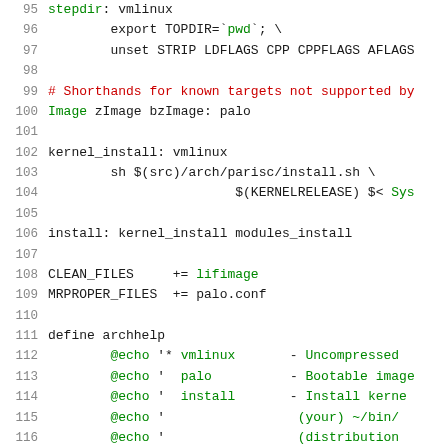Source code / Makefile snippet showing build targets and rules for Linux parisc architecture, lines 95-116
95: stepdir: vmlinux
96:         export TOPDIR=`pwd`; \
97:         unset STRIP LDFLAGS CPP CPPFLAGS AFLAGS
98: (blank)
99: # Shorthands for known targets not supported by
100: Image zImage bzImage: palo
101: (blank)
102: kernel_install: vmlinux
103:         sh $(src)/arch/parisc/install.sh \
104:                         $(KERNELRELEASE) $< Sys
105: (blank)
106: install: kernel_install modules_install
107: (blank)
108: CLEAN_FILES     += lifimage
109: MRPROPER_FILES  += palo.conf
110: (blank)
111: define archhelp
112:         @echo '* vmlinux      - Uncompressed
113:         @echo '  palo         - Bootable image
114:         @echo '  install      - Install kerne
115:         @echo '                 (your) ~/bin/
116:         @echo '                 (distribution